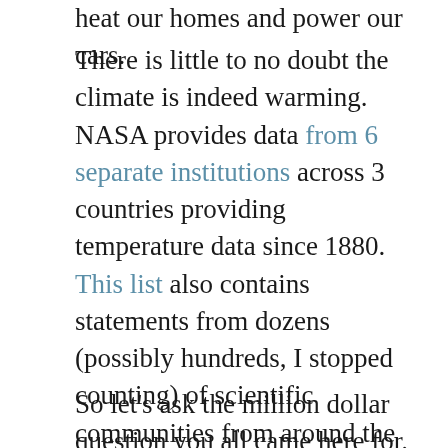heat our homes and power our cars.
There is little to no doubt the climate is indeed warming. NASA provides data from 6 separate institutions across 3 countries providing temperature data since 1880. This list also contains statements from dozens (possibly hundreds, I stopped counting) of scientific communities from around the globe stating the same. This is a global consensus. If you have further doubts or would like to read more, I highly suggest checking out NASA's site here. It's extremely informative in providing both data and explanations.
So let's ask the million dollar question you all came here for. Has humanity ever had to face